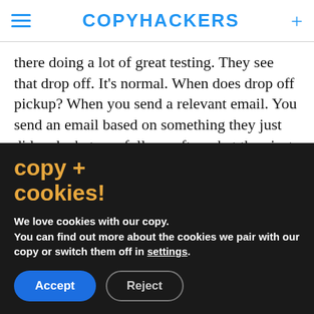COPYHACKERS
there doing a lot of great testing. They see that drop off. It's normal. When does drop off pickup? When you send a relevant email. You send an email based on something they just did and whatever follows after what they just did.
Because the day, rather, the moment a person needs something, is the best moment to sell them
copy + cookies!
We love cookies with our copy. You can find out more about the cookies we pair with our copy or switch them off in settings.
Accept   Reject